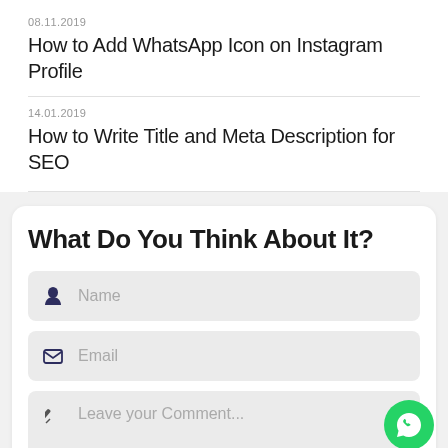08.11.2019
How to Add WhatsApp Icon on Instagram Profile
14.01.2019
How to Write Title and Meta Description for SEO
What Do You Think About It?
Name
Email
Leave your Comment...